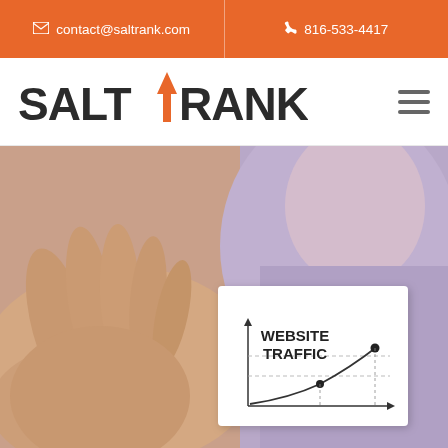✉ contact@saltrank.com   ☎ 816-533-4417
[Figure (logo): SaltRank logo with upward orange arrow between Salt and Rank text]
[Figure (photo): Person holding a card showing a website traffic growth chart with an exponential curve and two data points marked]